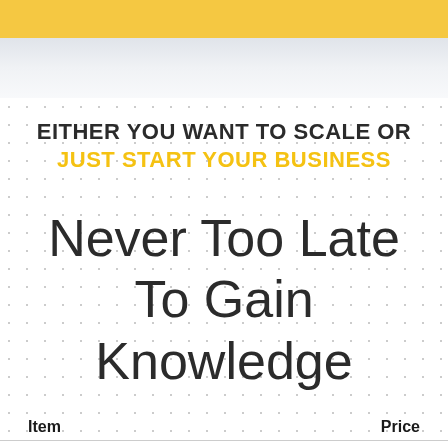EITHER YOU WANT TO SCALE OR JUST START YOUR BUSINESS
Never Too Late To Gain Knowledge
| Item | Price |
| --- | --- |